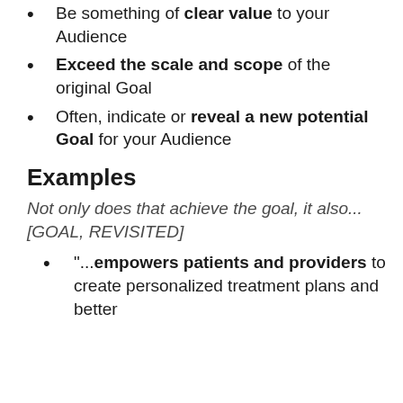Be something of clear value to your Audience
Exceed the scale and scope of the original Goal
Often, indicate or reveal a new potential Goal for your Audience
Examples
Not only does that achieve the goal, it also... [GOAL, REVISITED]
“...empowers patients and providers to create personalized treatment plans and better